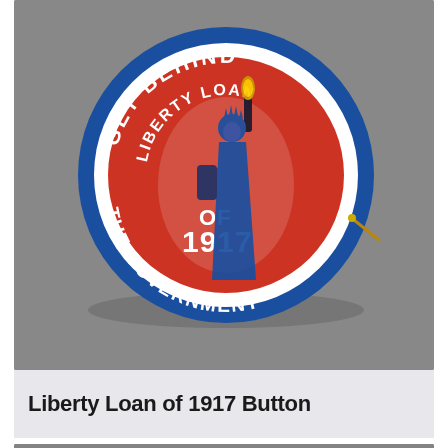[Figure (photo): Photograph of a circular Liberty Loan of 1917 pinback button. The button has a blue outer ring with white text reading 'GET BEHIND' at the top and 'THE GOVERNMENT' at the bottom. The center is red/orange with white text reading 'LIBERTY LOAN OF 1917' and an illustration of the Statue of Liberty. A metal pin clasp is visible on the right side.]
Liberty Loan of 1917 Button
[Figure (photo): Partially visible photograph below, showing a grey background with what appears to be another artifact, cropped at the bottom of the page.]